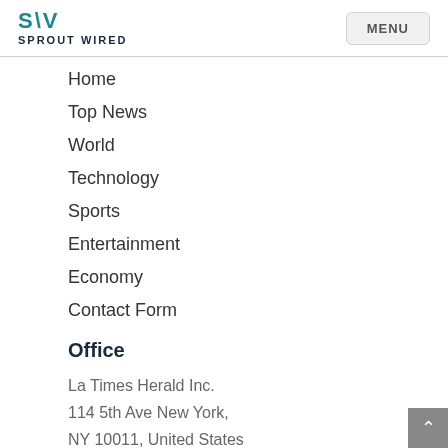SPROUT WIRED — MENU
Home
Top News
World
Technology
Sports
Entertainment
Economy
Contact Form
Office
La Times Herald Inc.
114 5th Ave New York,
NY 10011, United States